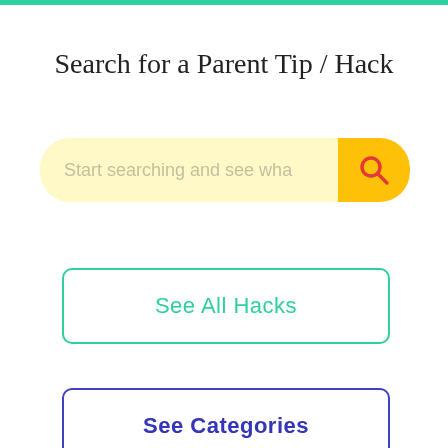Search for a Parent Tip / Hack
[Figure (other): Search bar with placeholder text 'Start searching and see wha' and a yellow search button with a red magnifying glass icon]
See All Hacks
See Categories